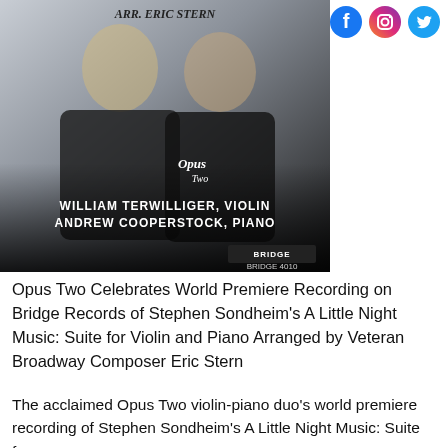[Figure (photo): Album cover photo showing two men in black clothing smiling. Text overlay reads 'ARR. ERIC STERN', 'Opus Two', 'WILLIAM TERWILLIGER, VIOLIN', 'ANDREW COOPERSTOCK, PIANO', 'BRIDGE', 'BRIDGE 4010']
Opus Two Celebrates World Premiere Recording on Bridge Records of Stephen Sondheim's A Little Night Music: Suite for Violin and Piano Arranged by Veteran Broadway Composer Eric Stern
The acclaimed Opus Two violin-piano duo's world premiere recording of Stephen Sondheim's A Little Night Music: Suite for